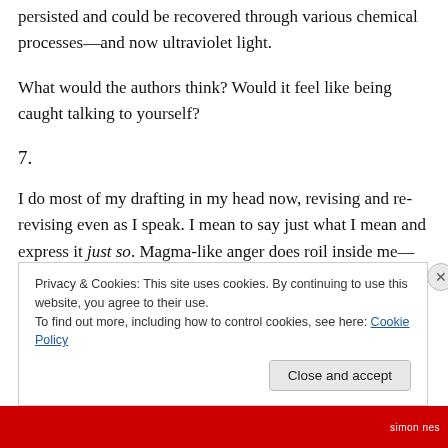persisted and could be recovered through various chemical processes—and now ultraviolet light.
What would the authors think? Would it feel like being caught talking to yourself?
7.
I do most of my drafting in my head now, revising and re-revising even as I speak. I mean to say just what I mean and express it just so. Magma-like anger does roil inside me—more than anyone may realize—but the few times it gets out in conversation, it immediately turns to steam
Privacy & Cookies: This site uses cookies. By continuing to use this website, you agree to their use.
To find out more, including how to control cookies, see here: Cookie Policy
Close and accept